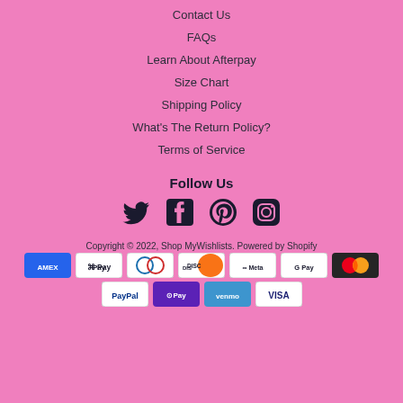Contact Us
FAQs
Learn About Afterpay
Size Chart
Shipping Policy
What's The Return Policy?
Terms of Service
Follow Us
[Figure (other): Social media icons: Twitter, Facebook, Pinterest, Instagram]
Copyright © 2022, Shop MyWishlists. Powered by Shopify
[Figure (other): Payment method icons: American Express, Apple Pay, Diners Club, Discover, Meta Pay, Google Pay, Mastercard, PayPal, Shop Pay, Venmo, Visa]